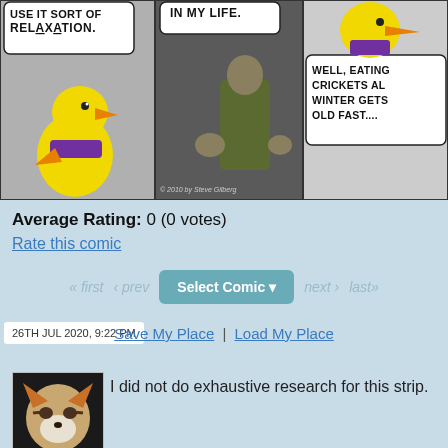[Figure (illustration): Comic strip panel showing a yellow cartoon duck/bird with purple scarf with speech bubbles. Panel 1: bubble reads 'RELAXATION.' Panel 2: 'IN MY LIFE.' Panel 3: 'WELL, EATING CRICKETS ALL WINTER GETS OLD FAST...' Copyright '© 2010 by Steve Gilberg']
Average Rating: 0 (0 votes)
Rate this comic
[Figure (other): Navigation bar with Select Comic dropdown button and first/prev/next/last links]
Save My Place | Load My Place
26TH JUL 2020, 9:22 PM
[Figure (photo): Author avatar photo showing a person wearing a fox/cat mask]
I did not do exhaustive research for this strip.
Stephen Gilberg